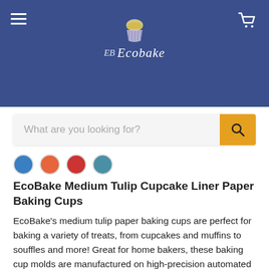Ecobake
EcoBake Medium Tulip Cupcake Liner Paper Baking Cups
EcoBake's medium tulip paper baking cups are perfect for baking a variety of treats, from cupcakes and muffins to souffles and more! Great for home bakers, these baking cup molds are manufactured on high-precision automated production lines, which provide a minimum size tolerance, making the molds suitable for use on automated destackers, perfect for restaurants and bakeries with higher production levels.